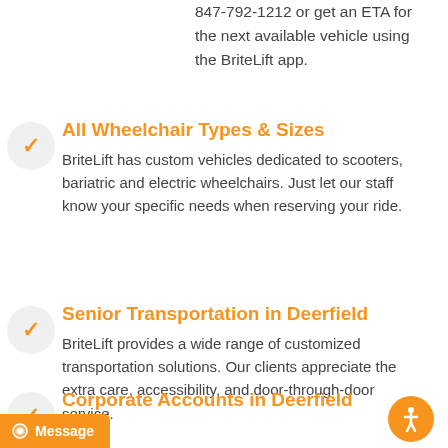847-792-1212 or get an ETA for the next available vehicle using the BriteLift app.
All Wheelchair Types & Sizes
BriteLift has custom vehicles dedicated to scooters, bariatric and electric wheelchairs. Just let our staff know your specific needs when reserving your ride.
Senior Transportation in Deerfield
BriteLift provides a wide range of customized transportation solutions. Our clients appreciate the extra care, accessibility, and door-through-door service.
Corporate Accounts in Deerfield